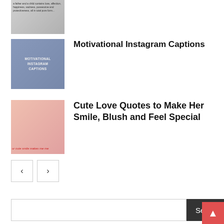[Figure (photo): Thumbnail image of a father and child with text overlay about love, affection, happiness, sadness, possessiveness and protectiveness]
[Figure (photo): Thumbnail image for Motivational Instagram Captions with person running through finish line ribbon]
Motivational Instagram Captions
[Figure (photo): Thumbnail image for Cute Love Quotes showing a couple close together with text 'ur cute smile makes me me']
Cute Love Quotes to Make Her Smile, Blush and Feel Special